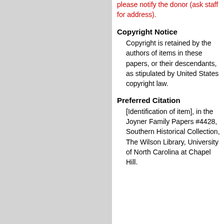please notify the donor (ask staff for address).
Copyright Notice
Copyright is retained by the authors of items in these papers, or their descendants, as stipulated by United States copyright law.
Preferred Citation
[Identification of item], in the Joyner Family Papers #4428, Southern Historical Collection, The Wilson Library, University of North Carolina at Chapel Hill.